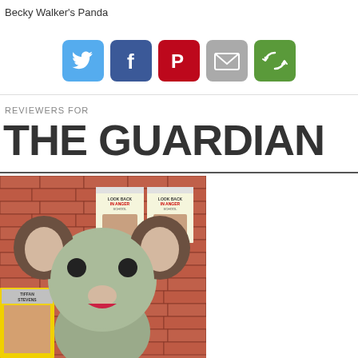Becky Walker's Panda
[Figure (other): Row of social media sharing icons: Twitter (blue bird), Facebook (blue f), Pinterest (red P), Email (grey envelope), Share (green circular arrows)]
REVIEWERS FOR
THE GUARDIAN
[Figure (photo): A sock puppet mouse/panda character with round grey head, large brown ears, black button eyes, pink nose, and red collar, posed in front of a brick wall covered with theatre posters including 'Look Back in Anger']